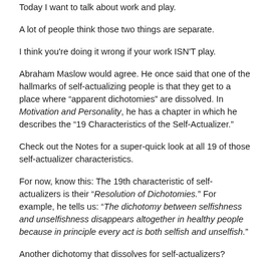Today I want to talk about work and play.
A lot of people think those two things are separate.
I think you're doing it wrong if your work ISN'T play.
Abraham Maslow would agree. He once said that one of the hallmarks of self-actualizing people is that they get to a place where “apparent dichotomies” are dissolved. In Motivation and Personality, he has a chapter in which he describes the “19 Characteristics of the Self-Actualizer.”
Check out the Notes for a super-quick look at all 19 of those self-actualizer characteristics.
For now, know this: The 19th characteristic of self-actualizers is their “Resolution of Dichotomies.” For example, he tells us: “The dichotomy between selfishness and unselfishness disappears altogether in healthy people because in principle every act is both selfish and unselfish.”
Another dichotomy that dissolves for self-actualizers?
The dichotomy between work and play.
What happens when work IS play? And when play IS work?
Well, the answer starts to get like this from the James Michener in his...